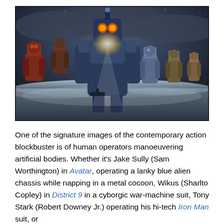[Figure (photo): Action movie promotional image showing several large mechanical robots (Jaegers) from Pacific Rim marching through stormy ocean waves, with dramatic lighting and dark cloudy sky. The central robot has glowing orange eyes and a spotlight beam.]
One of the signature images of the contemporary action blockbuster is of human operators manoeuvering artificial bodies. Whether it's Jake Sully (Sam Worthington) in Avatar, operating a lanky blue alien chassis while napping in a metal cocoon, Wikus (Sharlto Copley) in District 9 in a cyborgic war-machine suit, Tony Stark (Robert Downey Jr.) operating his hi-tech Iron Man suit, or